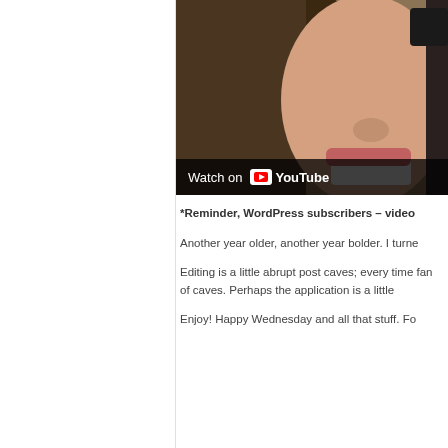[Figure (screenshot): Video thumbnail showing a woman smiling, with a 'Watch on YouTube' overlay banner at the bottom and a dark settings icon in the top right corner.]
*Reminder, WordPress subscribers – video
Another year older, another year bolder. I turne
Editing is a little abrupt post caves; every time fan of caves. Perhaps the application is a little
Enjoy! Happy Wednesday and all that stuff. Fo